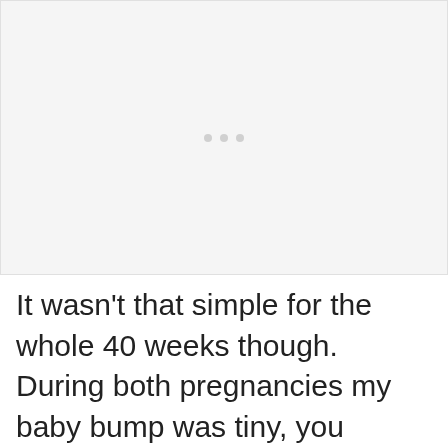[Figure (photo): A placeholder image area with a light gray background and three small gray dots centered in the middle, indicating an image that is loading or not displayed.]
It wasn't that simple for the whole 40 weeks though. During both pregnancies my baby bump was tiny, you couldn't really even tell I was pregnant until I was about 25 weeks. When I was 30 weeks